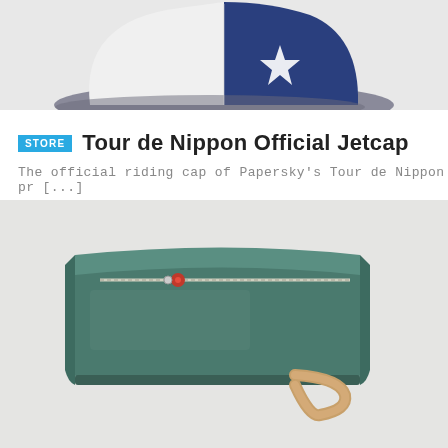[Figure (photo): Close-up photo of a baseball-style jet cap with gray brim, white front panel, and navy blue back panel with a white logo/emblem]
STORE  Tour de Nippon Official Jetcap
The official riding cap of Papersky's Tour de Nippon pr [...]
[Figure (photo): Product photo of a rectangular teal/green waxed canvas toiletry bag/dopp kit with a metal zipper, small red zipper pull charm, and tan leather handle strap, on a light gray background]